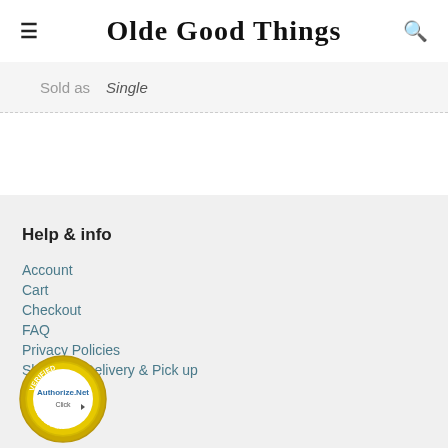Olde Good Things
| Sold as | Single |
| --- | --- |
Help & info
Account
Cart
Checkout
FAQ
Privacy Policies
Shipping, Delivery & Pick up
[Figure (logo): Authorize.Net Verified Merchant badge - circular gold seal with 'VERIFIED MERCHANT' text and Authorize.Net Click logo in center]